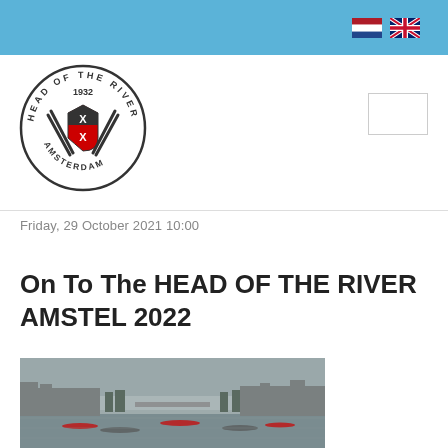Head of the River Amsterdam — navigation bar with Dutch and UK flag icons
[Figure (logo): Head of the River Amsterdam circular logo, 1932, with crossed oars and Amsterdam shield]
Friday, 29 October 2021 10:00
On To The HEAD OF THE RIVER AMSTEL 2022
[Figure (photo): Aerial photo of Amsterdam canal with rowing boats, misty winter day, bridges and city buildings visible]